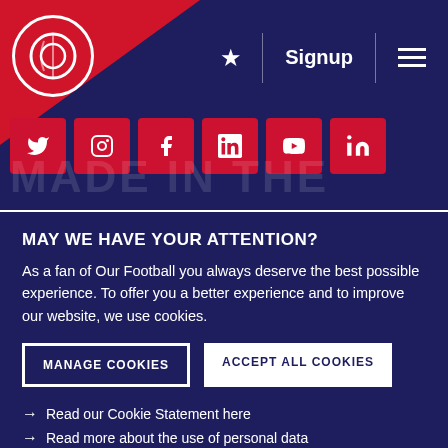[Figure (screenshot): Website header with dark navy background, red triangle logo in top-left corner with circular 'e' icon, navigation area with star icon, Signup text, and hamburger menu on the right. Social media icon buttons in red below the header.]
MAY WE HAVE YOUR ATTENTION?
As a fan of Our Football you always deserve the best possible experience. To offer you a better experience and to improve our website, we use cookies.
MANAGE COOKIES   ACCEPT ALL COOKIES
Read our Cookie Statement here
Read more about the use of personal data